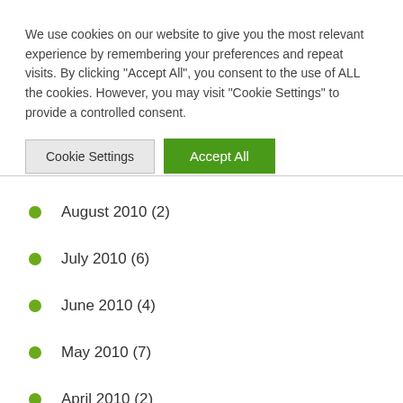We use cookies on our website to give you the most relevant experience by remembering your preferences and repeat visits. By clicking “Accept All”, you consent to the use of ALL the cookies. However, you may visit “Cookie Settings” to provide a controlled consent.
August 2010 (2)
July 2010 (6)
June 2010 (4)
May 2010 (7)
April 2010 (2)